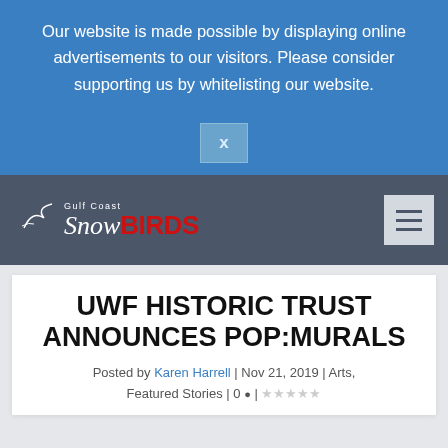Our website is made possible by displaying online advertisements to our visitors. Please consider supporting us by whitelisting our website.
[Figure (screenshot): Close button 'X' on blue ad banner]
[Figure (logo): Gulf Coast SnowBirds logo with stylized script 'Snow' in white and bold red 'BIRDS' text, with a small bird graphic]
[Figure (other): Hamburger menu button (three horizontal lines) on dark navy background]
UWF HISTORIC TRUST ANNOUNCES POP:MURALS
Posted by Karen Harrell | Nov 21, 2019 | Arts, Featured Stories | 0 | ★★★★★